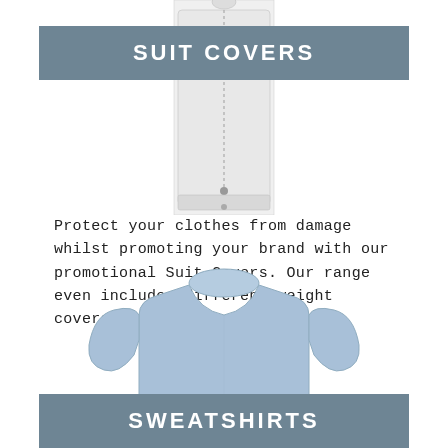[Figure (photo): A white garment/suit cover bag hanging, viewed from front, with zipper visible]
SUIT COVERS
Protect your clothes from damage whilst promoting your brand with our promotional Suit Covers. Our range even includes different weight covers!
[Figure (photo): A light blue crewneck sweatshirt on white background]
SWEATSHIRTS